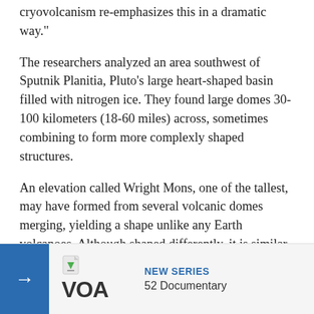cryovolcanism re-emphasizes this in a dramatic way."
The researchers analyzed an area southwest of Sputnik Planitia, Pluto's large heart-shaped basin filled with nitrogen ice. They found large domes 30-100 kilometers (18-60 miles) across, sometimes combining to form more complexly shaped structures.
An elevation called Wright Mons, one of the tallest, may have formed from several volcanic domes merging, yielding a shape unlike any Earth volcanoes. Although shaped differently, it is similar in size to Hawaii's large volcano Mauna Loa.
Like Earth and Pluto formed a an absence of i
[Figure (infographic): VOA advertisement banner with blue arrow button, VOA logo, NEW SERIES label in blue, and '52 Documentary' text]